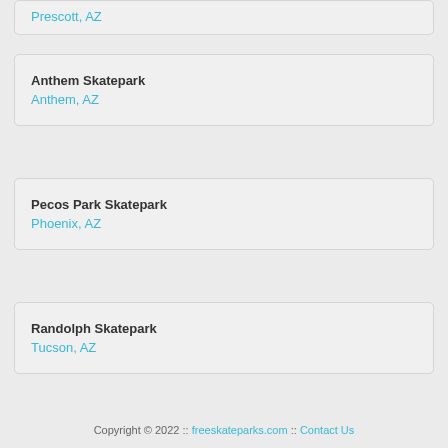Prescott, AZ
Anthem Skatepark
Anthem, AZ
Pecos Park Skatepark
Phoenix, AZ
Randolph Skatepark
Tucson, AZ
Copyright © 2022 :: freeskateparks.com :: Contact Us